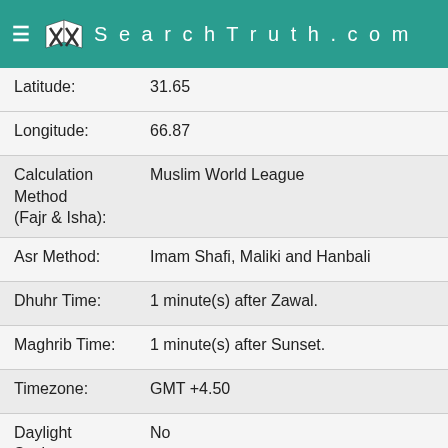SearchTruth.com
| Field | Value |
| --- | --- |
| Latitude: | 31.65 |
| Longitude: | 66.87 |
| Calculation Method (Fajr & Isha): | Muslim World League |
| Asr Method: | Imam Shafi, Maliki and Hanbali |
| Dhuhr Time: | 1 minute(s) after Zawal. |
| Maghrib Time: | 1 minute(s) after Sunset. |
| Timezone: | GMT +4.50 |
| Daylight Savings: | No |
Click here to Change